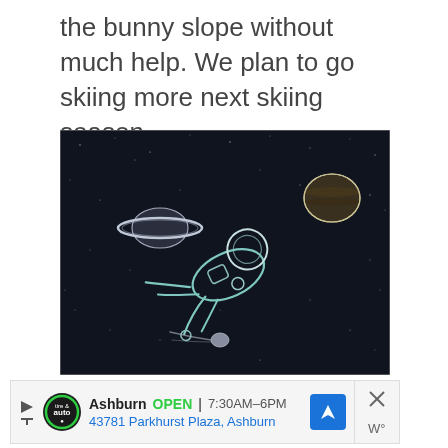the bunny slope without much help. We plan to go skiing more next skiing season.
[Figure (illustration): Dark space illustration showing a floating astronaut in a white outline suit, with Saturn-like ringed planet on the left, a Jupiter-like planet in the upper right, and a small comet at the bottom center, all against a dark navy starfield background.]
Ashburn OPEN 7:30AM–6PM 43781 Parkhurst Plaza, Ashburn